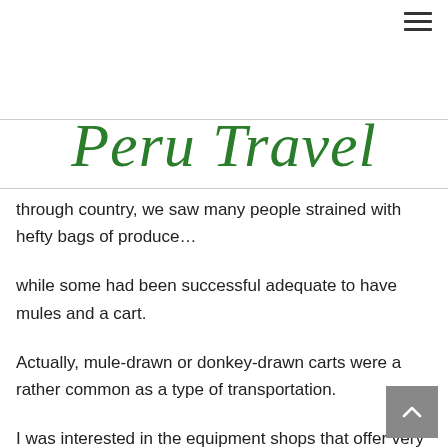Peru Travel
through country, we saw many people strained with hefty bags of produce…
while some had been successful adequate to have mules and a cart.
Actually, mule-drawn or donkey-drawn carts were a rather common as a type of transportation.
I was interested in the equipment shops that offer very another number of services and products from our stores at